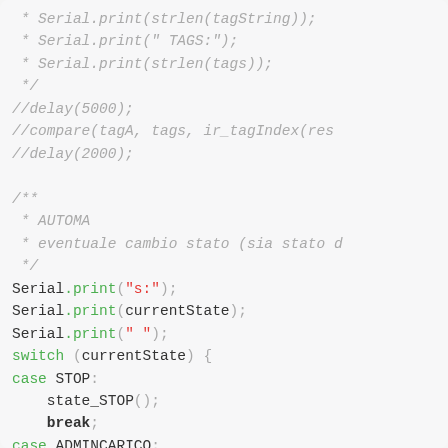Code snippet showing Arduino/C++ code with comments and Serial.print statements, switch-case structure